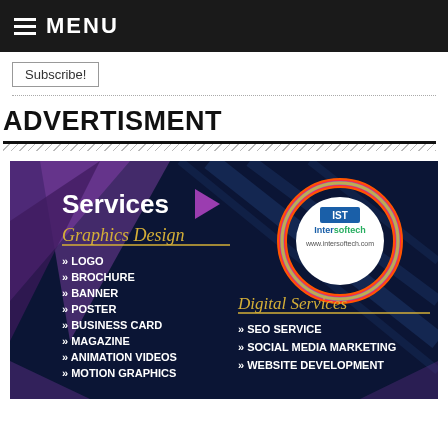MENU
Subscribe!
ADVERTISMENT
[Figure (illustration): Intersoftech company advertisement showing Graphics Design services (Logo, Brochure, Banner, Poster, Business Card, Magazine, Animation Videos, Motion Graphics) and Digital Services (SEO Service, Social Media Marketing, Website Development) on a dark blue background with purple geometric shapes and a colorful circular logo.]